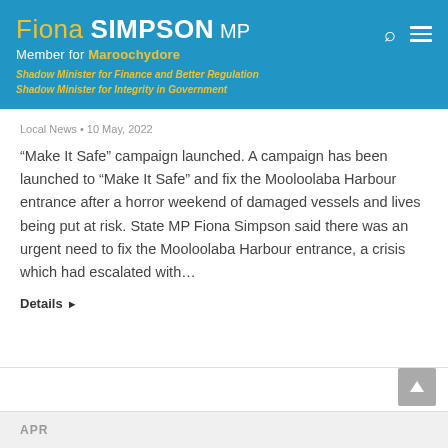Fiona SIMPSON MP — Member for Maroochydore — Shadow Minister for Finance and Better Regulation — Shadow Minister for Integrity in Government
Local News • 10 May, 2022
“Make It Safe” campaign launched. A campaign has been launched to “Make It Safe” and fix the Mooloolaba Harbour entrance after a horror weekend of damaged vessels and lives being put at risk. State MP Fiona Simpson said there was an urgent need to fix the Mooloolaba Harbour entrance, a crisis which had escalated with…
Details ▶